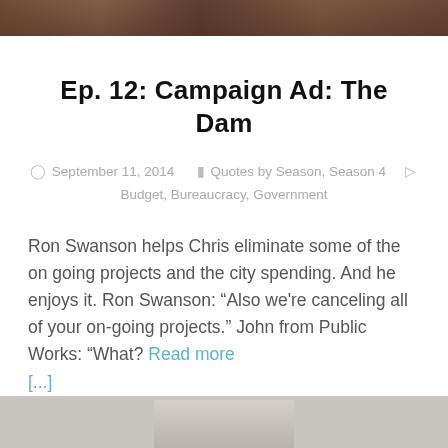[Figure (photo): Top portion of a photo showing dark brown/reddish background, partially cropped at top of page]
Ep. 12: Campaign Ad: The Dam
September 11, 2014   Quotes by Season, Season 4   Budget, Bureaucracy, Government
Ron Swanson helps Chris eliminate some of the on going projects and the city spending. And he enjoys it. Ron Swanson: “Also we're canceling all of your on-going projects.” John from Public Works: “What? Read more [...]
[Figure (photo): Bottom portion of a photo showing people, partially cropped at bottom of page]